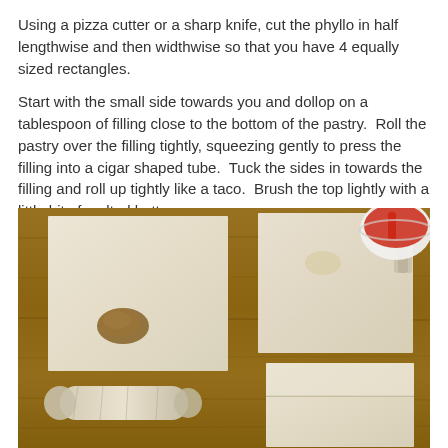Using a pizza cutter or a sharp knife, cut the phyllo in half lengthwise and then widthwise so that you have 4 equally sized rectangles.
Start with the small side towards you and dollop on a tablespoon of filling close to the bottom of the pastry.  Roll the pastry over the filling tightly, squeezing gently to press the filling into a cigar shaped tube.  Tuck the sides in towards the filling and roll up tightly like a taco.  Brush the top lightly with a little bit of melted butter.
[Figure (photo): Photo of phyllo dough sheets cut into rectangles laid out on a wooden cutting board, showing four stages: one sheet with a dollop of brown filling, one partially rolled, one fully rolled into a cigar shape, and one folded flat. A red-handled bowl is visible in the top right corner.]